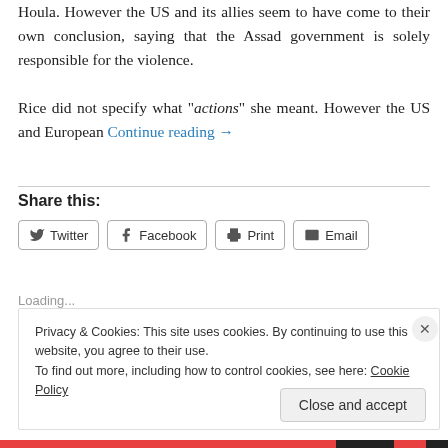Houla. However the US and its allies seem to have come to their own conclusion, saying that the Assad government is solely responsible for the violence.
Rice did not specify what “actions” she meant. However the US and European Continue reading →
Share this:
Twitter  Facebook  Print  Email
Loading...
Privacy & Cookies: This site uses cookies. By continuing to use this website, you agree to their use.
To find out more, including how to control cookies, see here: Cookie Policy